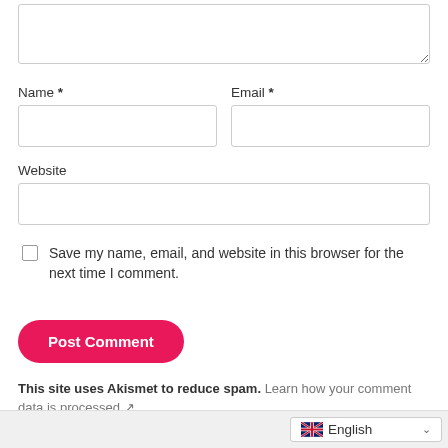[Figure (screenshot): Textarea input box (top, partially visible, resizable)]
Name *
[Figure (screenshot): Name text input field (empty)]
Email *
[Figure (screenshot): Email text input field (empty)]
Website
[Figure (screenshot): Website text input field (empty, full width)]
Save my name, email, and website in this browser for the next time I comment.
Post Comment
This site uses Akismet to reduce spam. Learn how your comment data is processed ↗.
English